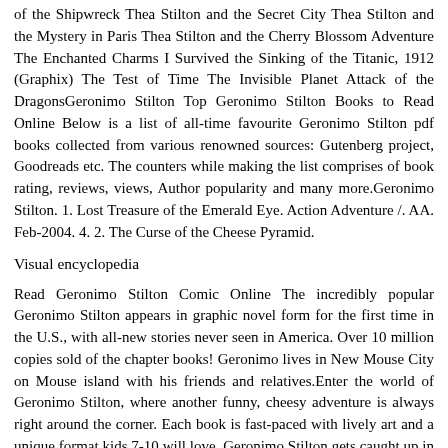of the Shipwreck Thea Stilton and the Secret City Thea Stilton and the Mystery in Paris Thea Stilton and the Cherry Blossom Adventure The Enchanted Charms I Survived the Sinking of the Titanic, 1912 (Graphix) The Test of Time The Invisible Planet Attack of the DragonsGeronimo Stilton Top Geronimo Stilton Books to Read Online Below is a list of all-time favourite Geronimo Stilton pdf books collected from various renowned sources: Gutenberg project, Goodreads etc. The counters while making the list comprises of book rating, reviews, views, Author popularity and many more.Geronimo Stilton. 1. Lost Treasure of the Emerald Eye. Action Adventure /. AA. Feb-2004. 4. 2. The Curse of the Cheese Pyramid.
Visual encyclopedia
Read Geronimo Stilton Comic Online The incredibly popular Geronimo Stilton appears in graphic novel form for the first time in the U.S., with all-new stories never seen in America. Over 10 million copies sold of the chapter books! Geronimo lives in New Mouse City on Mouse island with his friends and relatives.Enter the world of Geronimo Stilton, where another funny, cheesy adventure is always right around the corner. Each book is fast-paced with lively art and a unique format kids 7-10 will love. Geronimo Stilton gets caught up in the World Karate Championships, thanks to the efforts of Bruce Hyena and Piccolo Tao, Bruce's super-sporty cousin. Books, Workbook, E-book &